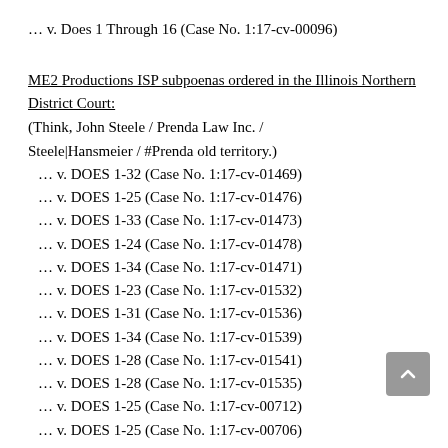… v. Does 1 Through 16 (Case No. 1:17-cv-00096)
ME2 Productions ISP subpoenas ordered in the Illinois Northern District Court:
(Think, John Steele / Prenda Law Inc. / Steele|Hansmeier / #Prenda old territory.)
… v. DOES 1-32 (Case No. 1:17-cv-01469)
… v. DOES 1-25 (Case No. 1:17-cv-01476)
… v. DOES 1-33 (Case No. 1:17-cv-01473)
… v. DOES 1-24 (Case No. 1:17-cv-01478)
… v. DOES 1-34 (Case No. 1:17-cv-01471)
… v. DOES 1-23 (Case No. 1:17-cv-01532)
… v. DOES 1-31 (Case No. 1:17-cv-01536)
… v. DOES 1-34 (Case No. 1:17-cv-01539)
… v. DOES 1-28 (Case No. 1:17-cv-01541)
… v. DOES 1-28 (Case No. 1:17-cv-01535)
… v. DOES 1-25 (Case No. 1:17-cv-00712)
… v. DOES 1-25 (Case No. 1:17-cv-00706)